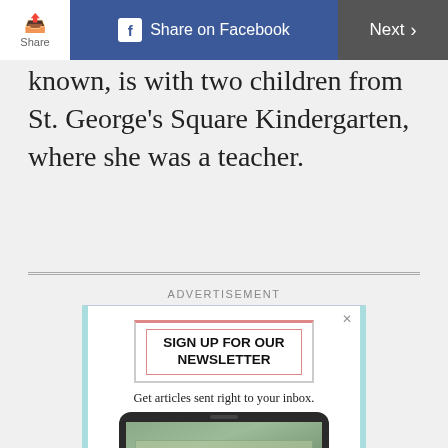Share | Share on Facebook | Next
known, is with two children from St. George's Square Kindergarten, where she was a teacher.
[Figure (screenshot): Advertisement for newsletter sign-up. Contains 'SIGN UP FOR OUR NEWSLETTER' header, subtitle 'Get articles sent right to your inbox.', image of a smartphone showing money/financial content with ADVICE label, and a red SIGN UP button.]